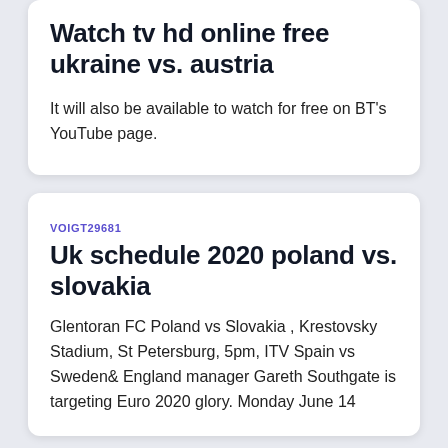Watch tv hd online free ukraine vs. austria
It will also be available to watch for free on BT's YouTube page.
VOIGT29681
Uk schedule 2020 poland vs. slovakia
Glentoran FC Poland vs Slovakia , Krestovsky Stadium, St Petersburg, 5pm, ITV Spain vs Sweden& England manager Gareth Southgate is targeting Euro 2020 glory. Monday June 14